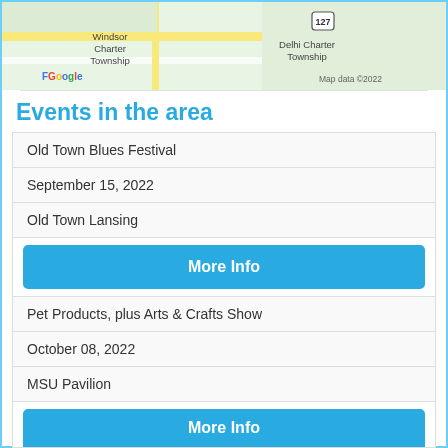[Figure (map): Google Maps view showing Windsor Charter Township and Delhi Charter Township area with roads and route 127. Map data ©2022.]
Events in the area
Old Town Blues Festival
September 15, 2022
Old Town Lansing
More Info
Pet Products, plus Arts & Crafts Show
October 08, 2022
MSU Pavilion
More Info